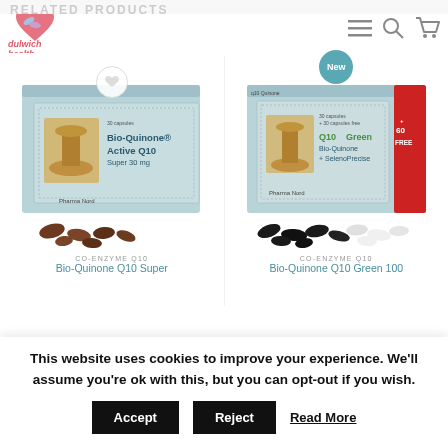dulwich health — navigation header with logo, menu, search, and cart icons
[Figure (photo): Product photo of Bio-Quinone Active Q10 Super 30mg supplement box by Pharma Nord with brown capsules in front]
CO-ENZYME Q10
Bio-Quinone Q10 Super
[Figure (photo): Product photo of Q10 Green Bio-Quinone supplement box with red banner '+ 60 FREE' by Pharma Nord with black and white capsules in front, labelled New]
CO-ENZYME Q10
Bio-Quinone Q10 Green 100
This website uses cookies to improve your experience. We'll assume you're ok with this, but you can opt-out if you wish.
Accept | Reject | Read More